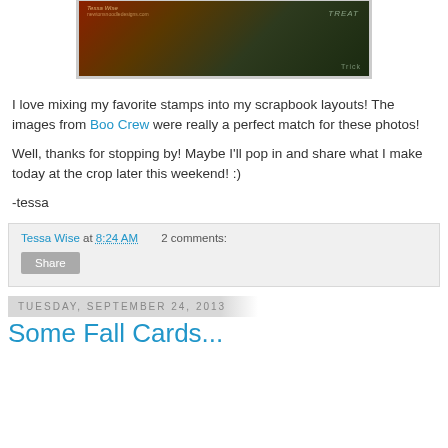[Figure (photo): Halloween-themed scrapbook layout photo with dark green chalkboard background and trick or treat decorations, with watermark text 'Tessa Wise' and 'newtonsnoodledesigns.com']
I love mixing my favorite stamps into my scrapbook layouts!  The images from Boo Crew were really a perfect match for these photos!
Well, thanks for stopping by!  Maybe I'll pop in and share what I make today at the crop later this weekend!  :)
-tessa
Tessa Wise at 8:24 AM    2 comments:
Share
Tuesday, September 24, 2013
Some Fall Cards...